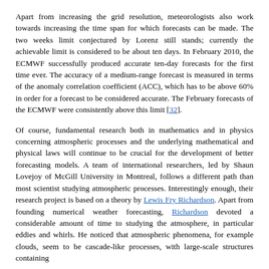Apart from increasing the grid resolution, meteorologists also work towards increasing the time span for which forecasts can be made. The two weeks limit conjectured by Lorenz still stands; currently the achievable limit is considered to be about ten days. In February 2010, the ECMWF successfully produced accurate ten-day forecasts for the first time ever. The accuracy of a medium-range forecast is measured in terms of the anomaly correlation coefficient (ACC), which has to be above 60% in order for a forecast to be considered accurate. The February forecasts of the ECMWF were consistently above this limit [32].
Of course, fundamental research both in mathematics and in physics concerning atmospheric processes and the underlying mathematical and physical laws will continue to be crucial for the development of better forecasting models. A team of international researchers, led by Shaun Lovejoy of McGill University in Montreal, follows a different path than most scientist studying atmospheric processes. Interestingly enough, their research project is based on a theory by Lewis Fry Richardson. Apart from founding numerical weather forecasting, Richardson devoted a considerable amount of time to studying the atmosphere, in particular eddies and whirls. He noticed that atmospheric phenomena, for example clouds, seem to be cascade-like processes, with large-scale structures containing